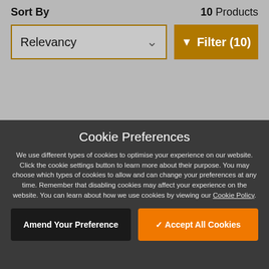Sort By
10 Products
Relevancy
Filter (10)
Cookie Preferences
We use different types of cookies to optimise your experience on our website. Click the cookie settings button to learn more about their purpose. You may choose which types of cookies to allow and can change your preferences at any time. Remember that disabling cookies may affect your experience on the website. You can learn about how we use cookies by viewing our Cookie Policy.
Amend Your Preference
Accept All Cookies